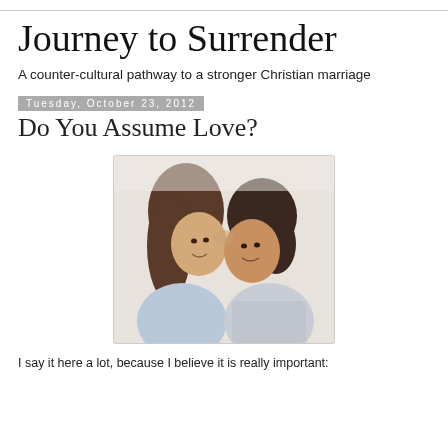Journey to Surrender
A counter-cultural pathway to a stronger Christian marriage
Tuesday, October 23, 2012
Do You Assume Love?
[Figure (photo): A couple facing each other closely, smiling, forehead to forehead, black and white romantic photo]
I say it here a lot, because I believe it is really important: